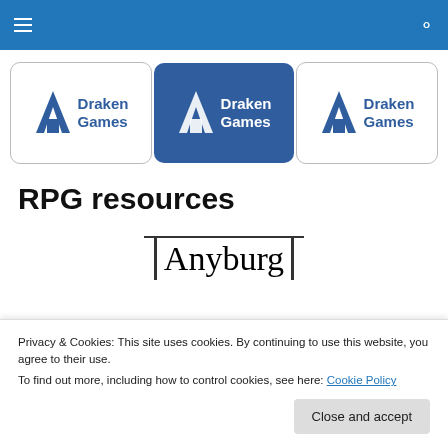navigation bar with hamburger menu and search icon
[Figure (logo): Three Draken Games logos side by side — first on white background with blue border, second on dark blue background, third on white background with gray border. Each logo has a blue arrow/mountain chevron icon and 'Draken Games' text in blue (white on dark variant).]
RPG resources
[Figure (other): Text 'Anyburg' in large serif font, framed by horizontal lines at top and vertical bars on left and right sides.]
Privacy & Cookies: This site uses cookies. By continuing to use this website, you agree to their use.
To find out more, including how to control cookies, see here: Cookie Policy
Close and accept